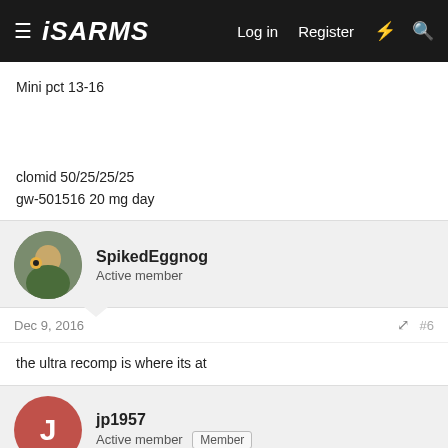iSARMS — Log in  Register
Mini pct 13-16

clomid 50/25/25/25
gw-501516 20 mg day
SpikedEggnog
Active member
Dec 9, 2016  #6
the ultra recomp is where its at
jp1957
Active member  Member